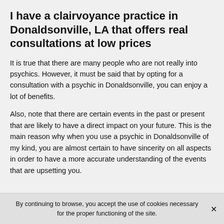I have a clairvoyance practice in Donaldsonville, LA that offers real consultations at low prices
It is true that there are many people who are not really into psychics. However, it must be said that by opting for a consultation with a psychic in Donaldsonville, you can enjoy a lot of benefits.
Also, note that there are certain events in the past or present that are likely to have a direct impact on your future. This is the main reason why when you use a psychic in Donaldsonville of my kind, you are almost certain to have sincerity on all aspects in order to have a more accurate understanding of the events that are upsetting you.
By continuing to browse, you accept the use of cookies necessary for the proper functioning of the site.